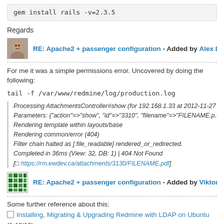gem install rails -v=2.3.5
Regards
RE: Apache2 + passenger configuration - Added by Alex Dergachev al...
For me it was a simple permissions error. Uncovered by doing the following:
tail -f /var/www/redmine/log/production.log
Processing AttachmentsController#show (for 192.168.1.33 at 2012-11-27
Parameters: {"action"=>"show", "id"=>"3310", "filename"=>"FILENAME.p...
Rendering template within layouts/base
Rendering common/error (404)
Filter chain halted as [:file_readable] rendered_or_redirected.
Completed in 36ms (View: 32, DB: 1) | 404 Not Found
[□ https://rm.ewdev.ca/attachments/3130/FILENAME.pdf]
RE: Apache2 + passenger configuration - Added by Viktor Berke almo...
Some further reference about this:
Installing, Migrating & Upgrading Redmine with LDAP on Ubuntu
(1-12/12)